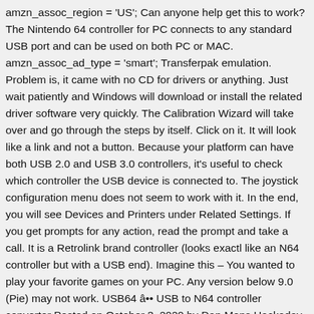amzn_assoc_region = 'US'; Can anyone help get this to work? The Nintendo 64 controller for PC connects to any standard USB port and can be used on both PC or MAC. amzn_assoc_ad_type = 'smart'; Transferpak emulation. Problem is, it came with no CD for drivers or anything. Just wait patiently and Windows will download or install the related driver software very quickly. The Calibration Wizard will take over and go through the steps by itself. Click on it. It will look like a link and not a button. Because your platform can have both USB 2.0 and USB 3.0 controllers, it's useful to check which controller the USB device is connected to. The joystick configuration menu does not seem to work with it. In the end, you will see Devices and Printers under Related Settings. If you get prompts for any action, read the prompt and take a call. It is a Retrolink brand controller (looks exactl like an N64 controller but with a USB end). Imagine this – You wanted to play your favorite games on your PC. Any version below 9.0 (Pie) may not work. USB64 â•• USB to N64 controller converter Posted on October 3, 2020 by Dan Mons Hackaday reports on an open source project from developer Ryzee119 that